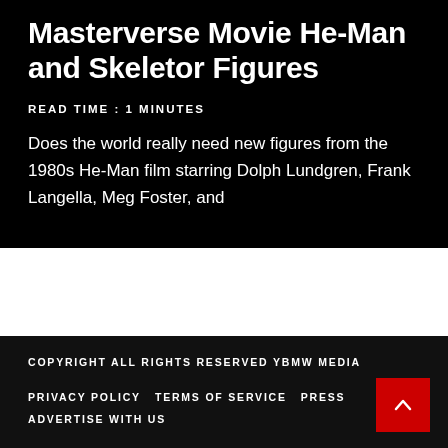Masterverse Movie He-Man and Skeletor Figures
READ TIME : 1 MINUTES
Does the world really need new figures from the 1980s He-Man film starring Dolph Lundgren, Frank Langella, Meg Foster, and
COPYRIGHT ALL RIGHTS RESERVED YBMW MEDIA
PRIVACY POLICY   TERMS OF SERVICE   PRESS   ADVERTISE WITH US